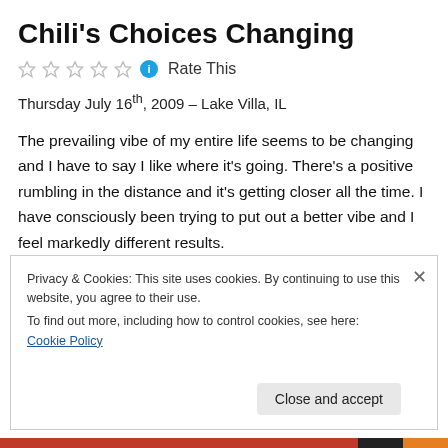Chili's Choices Changing
☆☆☆☆☆ ℹ Rate This
Thursday July 16th, 2009 – Lake Villa, IL
The prevailing vibe of my entire life seems to be changing and I have to say I like where it's going. There's a positive rumbling in the distance and it's getting closer all the time. I have consciously been trying to put out a better vibe and I feel markedly different results.
Privacy & Cookies: This site uses cookies. By continuing to use this website, you agree to their use. To find out more, including how to control cookies, see here: Cookie Policy